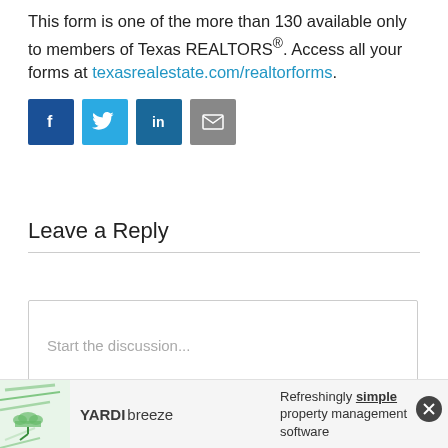This form is one of the more than 130 available only to members of Texas REALTORS®. Access all your forms at texasrealestate.com/realtorforms.
[Figure (infographic): Four social media sharing icons in a row: Facebook (dark blue), Twitter (light blue), LinkedIn (medium blue), Email (gray)]
Leave a Reply
Start the discussion...
[Figure (infographic): Yardi Breeze advertisement banner: logo with Yardi breeze branding, text 'Refreshingly simple property management software', green arrow, close button]